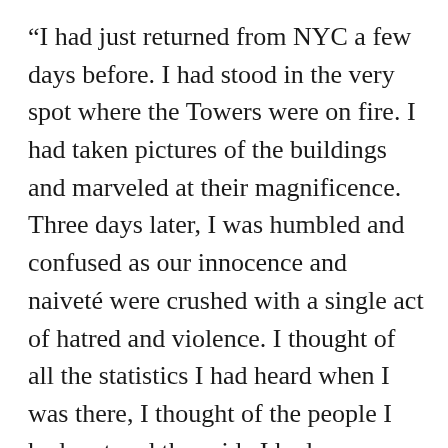“I had just returned from NYC a few days before. I had stood in the very spot where the Towers were on fire. I had taken pictures of the buildings and marveled at their magnificence. Three days later, I was humbled and confused as our innocence and naiveté were crushed with a single act of hatred and violence. I thought of all the statistics I had heard when I was there, I thought of the people I had met and the pride I had seen on the face of every New Yorker. Part of me didn’t want to believe that it had really happened, but the proof was there. I was at work, and we didn’t have access to a television, so a friend of mine in Texas was emailing me up-to-the-minute blurbs. I remember the email where he said the 1st Tower had fallen. I cried for all